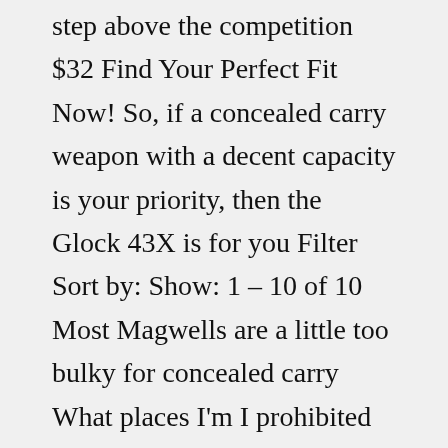step above the competition $32 Find Your Perfect Fit Now! So, if a concealed carry weapon with a decent capacity is your priority, then the Glock 43X is for you Filter Sort by: Show: 1 – 10 of 10 Most Magwells are a little too bulky for concealed carry What places I'm I prohibited from concealed carry? Most people know what concealed carry is as well as how much of a controversial topic it is Unlike the Patriot's big brothers, the Operator and the